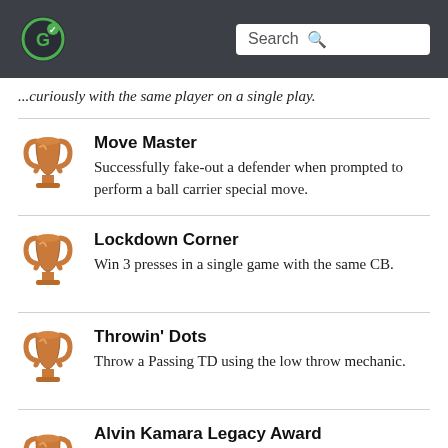Search
...curiously with the same player on a single play.
Move Master - Successfully fake-out a defender when prompted to perform a ball carrier special move.
Lockdown Corner - Win 3 presses in a single game with the same CB.
Throwin' Dots - Throw a Passing TD using the low throw mechanic.
Alvin Kamara Legacy Award